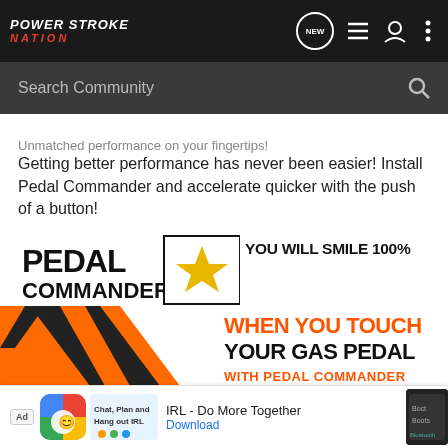Power Stroke Nation
Unmatched performance on your fingertips!
Getting better performance has never been easier! Install Pedal Commander and accelerate quicker with the push of a button!
[Figure (illustration): Pedal Commander advertisement: logo with star, text 'YOU WILL SMILE 100% WHEN YOU TOUCH YOUR GAS PEDAL WITH PEDAL COMMANDER' on orange/black background]
[Figure (infographic): Bottom banner ad: IRL - Do More Together app advertisement with colorful app icon and Download link]